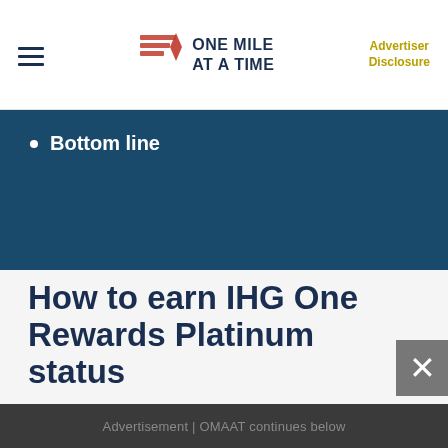ONE MILE AT A TIME | Advertiser Disclosure
Bottom line
How to earn IHG One Rewards Platinum status
There are several ways to earn IHG One Rewards Platinum status — you can earn it based on the number of nights you stay, you can earn it based on how much qualifying spending you have at IHG properties, or you can earn it by having a co-branded credit card.
Advertisement | OMAAT continues below